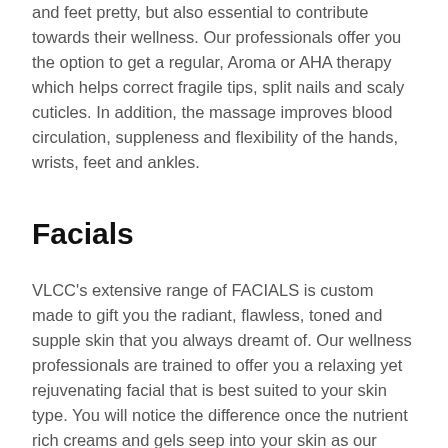and feet pretty, but also essential to contribute towards their wellness. Our professionals offer you the option to get a regular, Aroma or AHA therapy which helps correct fragile tips, split nails and scaly cuticles. In addition, the massage improves blood circulation, suppleness and flexibility of the hands, wrists, feet and ankles.
Facials
VLCC's extensive range of FACIALS is custom made to gift you the radiant, flawless, toned and supple skin that you always dreamt of. Our wellness professionals are trained to offer you a relaxing yet rejuvenating facial that is best suited to your skin type. You will notice the difference once the nutrient rich creams and gels seep into your skin as our experts work their magic